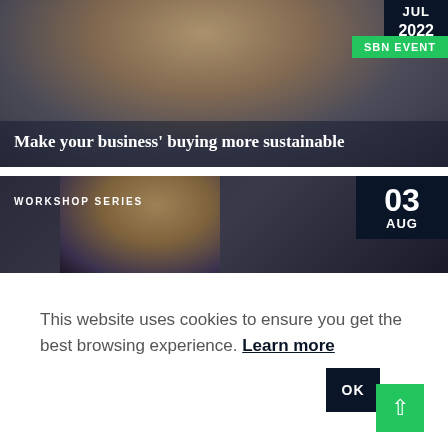[Figure (photo): Photo of a man in a checkered shirt with dark overlay, event card. Date tag shows JUL 2022, green badge reads SBN EVENT. Title text: Make your business' buying more sustainable]
Make your business' buying more sustainable
[Figure (photo): Photo of a smiling man with camera equipment, Workshop Series label, date shows 03 AUG in dark navy box]
This website uses cookies to ensure you get the best browsing experience. Learn more